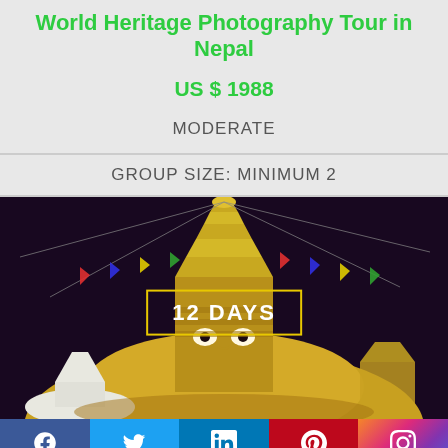World Heritage Photography Tour in Nepal
US $ 1988
MODERATE
GROUP SIZE: MINIMUM 2
[Figure (photo): Night photograph of Swayambhunath stupa in Kathmandu Nepal illuminated in gold, with prayer flags strung around the tower, and a yellow-bordered overlay reading '12 DAYS']
Facebook Twitter LinkedIn Pinterest Instagram